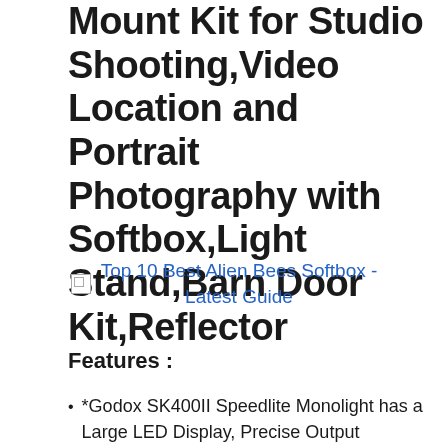Mount Kit for Studio Shooting,Video Location and Portrait Photography with Softbox,Light Stand,Barn Door Kit,Reflector
[Figure (other): Broken image placeholder linking to 'Top 10 Best Alien Bees Softbox - Latest Guide']
Features :
*Godox SK400II Speedlite Monolight has a Large LED Display, Precise Output Displayed on LCD Panel, 40 Steps from 1/16-1/1. Auto Memory and